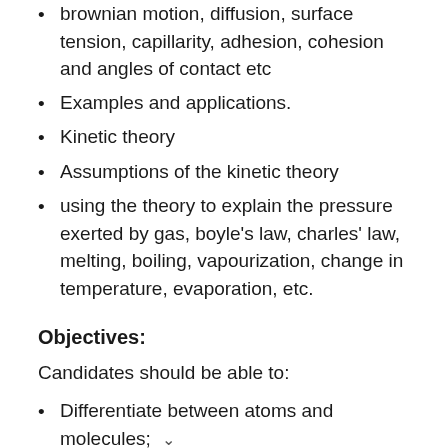brownian motion, diffusion, surface tension, capillarity, adhesion, cohesion and angles of contact etc
Examples and applications.
Kinetic theory
Assumptions of the kinetic theory
using the theory to explain the pressure exerted by gas, boyle's law, charles' law, melting, boiling, vapourization, change in temperature, evaporation, etc.
Objectives:
Candidates should be able to:
Differentiate between atoms and molecules;